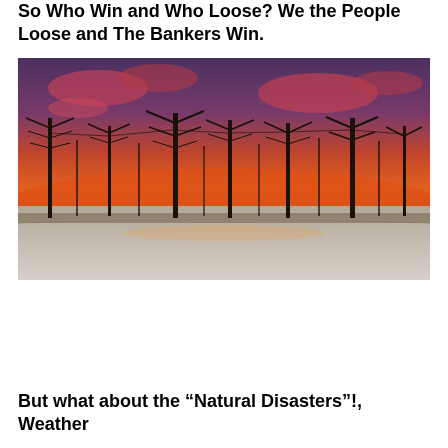So Who Win and Who Loose? We the People Loose and The Bankers Win.
[Figure (photo): Aerial photograph of a large antenna array installation (resembling HAARP) with numerous tall metal towers and cross-shaped antennas, photographed against a dramatic red and purple sunset sky. The ground appears to be covered in snow or gravel.]
But what about the “Natural Disasters”!, Weather